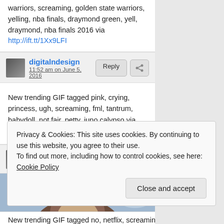warriors, screaming, golden state warriors, yelling, nba finals, draymond green, yell, draymond, nba finals 2016 via http://ift.tt/1Xx9LFI
digitalndesign
11:52 am on June 5, 2016
New trending GIF tagged pink, crying, princess, ugh, screaming, fml, tantrum, babydoll, not fair, petty, juno calypso via http://ift.tt/1PgvRZW
digitalndesign
4:17 pm on May 28, 2016
[Figure (photo): Partial photo of a person with tousled hair against a sky background]
Privacy & Cookies: This site uses cookies. By continuing to use this website, you agree to their use.
To find out more, including how to control cookies, see here: Cookie Policy
Close and accept
New trending GIF tagged no, netflix, screaming,